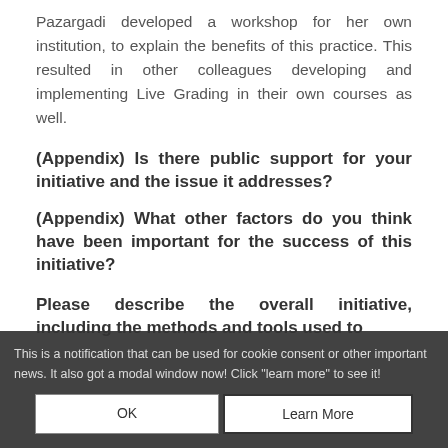Pazargadi developed a workshop for her own institution, to explain the benefits of this practice. This resulted in other colleagues developing and implementing Live Grading in their own courses as well.
(Appendix) Is there public support for your initiative and the issue it addresses?
(Appendix) What other factors do you think have been important for the success of this initiative?
Please describe the overall initiative, including the methods and tools used to
This is a notification that can be used for cookie consent or other important news. It also got a modal window now! Click "learn more" to see it!